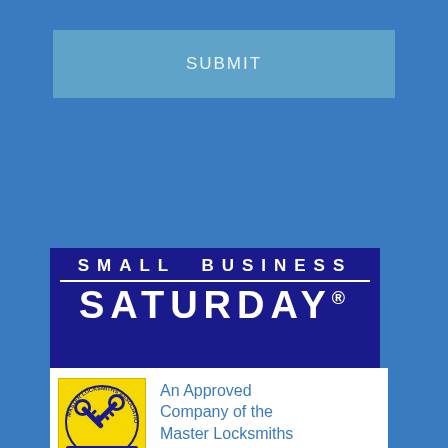[Figure (other): A teal/steel-blue submit button rectangle with text SUBMIT]
[Figure (logo): Small Business Saturday logo — dark blue rectangle with 'SMALL BUSINESS' in spaced white caps above a white divider line, and 'SATURDAY.' in large bold white caps below]
[Figure (logo): Master Locksmiths Association approved company badge — yellow square badge with MLA logo (crossed keys, circular text 'MASTER LOCKSMITHS ASSOCIATION') on left, next to blue text 'An Approved Company of the Master Locksmiths Association' on white background]